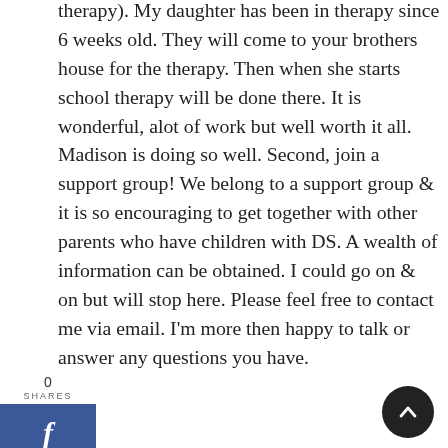therapy). My daughter has been in therapy since 6 weeks old. They will come to your brothers house for the therapy. Then when she starts school therapy will be done there. It is wonderful, alot of work but well worth it all. Madison is doing so well. Second, join a support group! We belong to a support group & it is so encouraging to get together with other parents who have children with DS. A wealth of information can be obtained. I could go on & on but will stop here. Please feel free to contact me via email. I'm more then happy to talk or answer any questions you have.
You may not realize it but you are so blesses to have this baby girl in your life! Congrats to you & your entire family.
Oh, one more thing. Google "Buddy Walk" for your area. It is an annual walk that raises money for Down